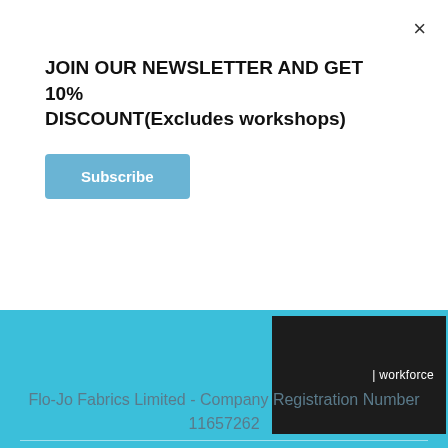×
JOIN OUR NEWSLETTER AND GET 10% DISCOUNT(Excludes workshops)
Subscribe
[Figure (screenshot): Dark banner image with text 'workforce' visible on the right side]
Flo-Jo Fabrics Limited - Company Registration Number 11657262